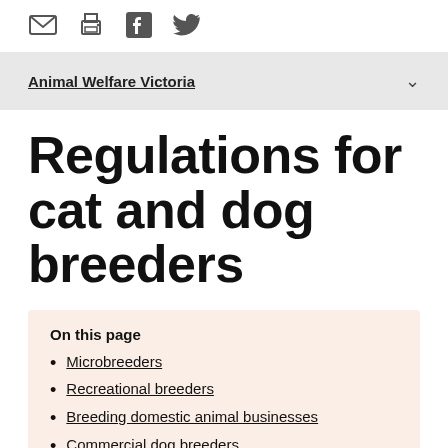[Figure (infographic): Social sharing icons: email, print, Facebook, Twitter]
Animal Welfare Victoria
Regulations for cat and dog breeders
On this page
Microbreeders
Recreational breeders
Breeding domestic animal businesses
Commercial dog breeders